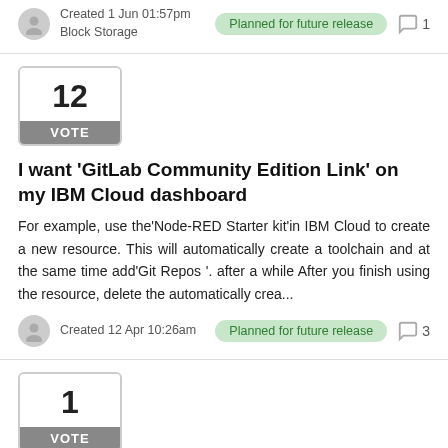Created 1 Jun 01:57pm
Block Storage
Planned for future release
1
12
VOTE
I want 'GitLab Community Edition Link' on my IBM Cloud dashboard
For example, use the'Node-RED Starter kit'in IBM Cloud to create a new resource. This will automatically create a toolchain and at the same time add'Git Repos '. after a while After you finish using the resource, delete the automatically crea...
Created 12 Apr 10:26am
Planned for future release
3
1
VOTE